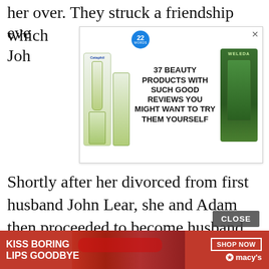her over. They struck a friendship which eve... Joh...
[Figure (infographic): Advertisement banner: 37 Beauty Products With Such Good Reviews You Might Want To Try Them Yourself, showing Cetaphil and Weleda product images with a blue badge showing 22]
Shortly after her divorced from first husband John Lear, she and Adam then proceeded to become husband and wife.
[Figure (photo): Photo of a man in a pink striped shirt and a woman in a teal top, outdoors with greenery in the background. A black video overlay partially covers the right side.]
[Figure (infographic): Advertisement banner for Macy's: KISS BORING LIPS GOODBYE with SHOP NOW button and Macy's logo with red star]